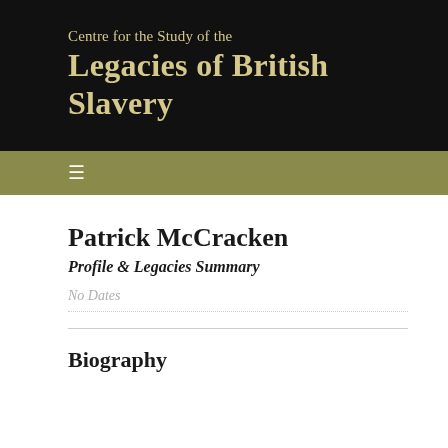Centre for the Study of the Legacies of British Slavery
Patrick McCracken
Profile & Legacies Summary
No Dates
Biography